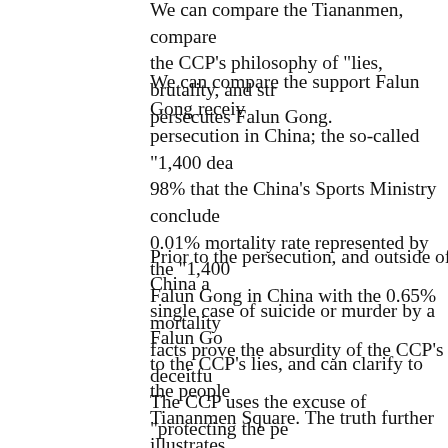We can compare the Tiananmen, compare the CCP's philosophy of "lies, brutality, and str... persecutes Falun Gong.
We can compare the support Falun Gong receiv... persecution in China; the so-called "1,400 dea... 98% that the China's Sports Ministry conclude... 0.01% mortality rate represented by the "1,400... Falun Gong in China with the 0.65% mortality... facts prove the absurdity of the CCP's deceitfu...
Prior to the persecution, and outside of China a... single case of suicide or murder by a Falun Go... to the CCP's lies, and can clarify to the people... Tiananmen Square. The truth further illustrates... Gong is based entirely on lies.
The CCP uses the excuse of "protecting the pe... We can compare this with the fact that the pers...